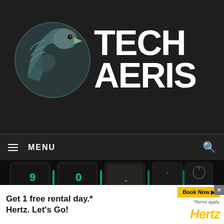[Figure (logo): Techaeris logo: eagle/hawk circular emblem on the left in teal/dark tones, followed by bold white text TECHAERIS on dark background]
[Figure (photo): Close-up photo of a dark mechanical gaming keyboard with green/teal backlit keys including number keys 9, 0, minus, and other keys visible]
≡ MENU
[Figure (infographic): Advertisement banner: Get 1 free rental day.* Hertz. Let's Go! with Book Now button and Hertz logo in yellow]
Get 1 free rental day.* Hertz. Let's Go! *Terms apply.